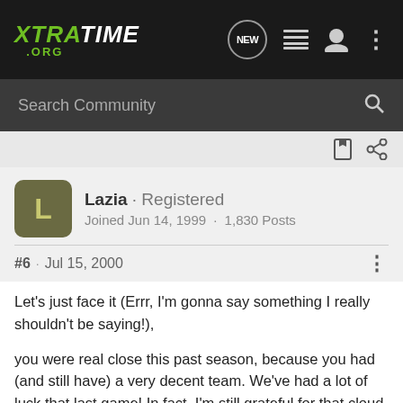XTRATIME .ORG
Search Community
Lazia · Registered
Joined Jun 14, 1999 · 1,830 Posts
#6 · Jul 15, 2000
Let's just face it (Errr, I'm gonna say something I really shouldn't be saying!),
you were real close this past season, because you had (and still have) a very decent team. We've had a lot of luck that last game! In fact, I'm still grateful for that cloud burst in Perugia (Sorry, had to mention that!). But what we shouldn't forget about, is how different things could have turned out to be, if